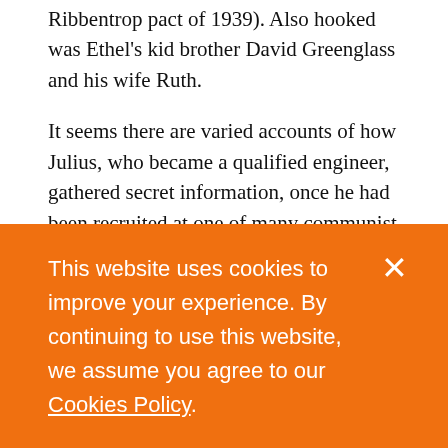Ribbentrop pact of 1939). Also hooked was Ethel's kid brother David Greenglass and his wife Ruth.
It seems there are varied accounts of how Julius, who became a qualified engineer, gathered secret information, once he had been recruited at one of many communist gatherings and allotted to Alexander Feklisov, his New York-based handler from Moscow. But Sebba does not question Julius's enthusiasm for assisting a nation that he saw as a
This website uses cookies to improve your experience. By continuing to use this website, we assume you agree to our Cookies Policy.